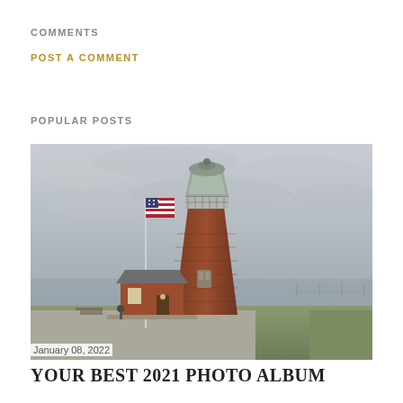COMMENTS
POST A COMMENT
POPULAR POSTS
[Figure (photo): Photograph of a red brick lighthouse with a flagpole flying an American flag to its left, set against an overcast grey sky. The lighthouse has a lantern room at the top with railings, and a small attached keeper's house at the base. Surrounding the structure is a paved area with benches and a fence in the background.]
January 08, 2022
YOUR BEST 2021 PHOTO ALBUM